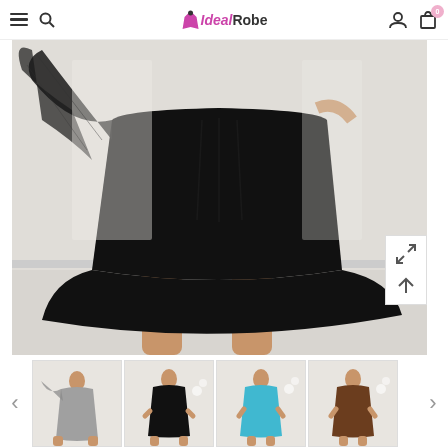IdealRobe navigation header with menu, search, logo, user and cart icons
[Figure (photo): Main product photo: woman wearing a short black strapless chiffon A-line dress with a flowing black wrap/scarf, shown from mid-torso down, on a white background]
[Figure (photo): Thumbnail 1: gray/silver short strapless dress with flowing scarf]
[Figure (photo): Thumbnail 2: black short strapless dress]
[Figure (photo): Thumbnail 3: turquoise/blue short strapless dress]
[Figure (photo): Thumbnail 4: brown short strapless dress]